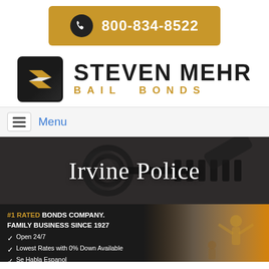[Figure (logo): Phone button with golden background showing 800-834-8522]
[Figure (logo): Steven Mehr Bail Bonds logo with S icon and company name]
Menu
[Figure (photo): Hero image of keys on dark background with text 'Irvine Police']
#1 RATED BONDS COMPANY. FAMILY BUSINESS SINCE 1927
Open 24/7
Lowest Rates with 0% Down Available
Se Habla Espanol